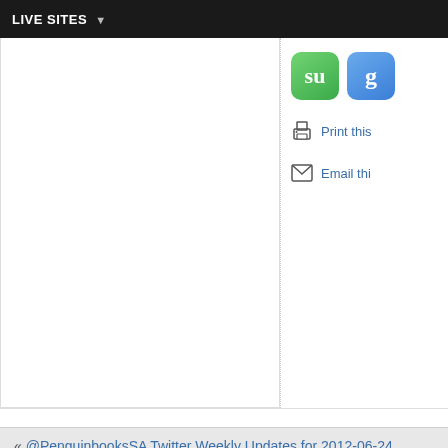LIVE SITES
[Figure (screenshot): Social sharing icons: StumbleUpon (green) and Google+ (blue)]
Print this
Email thi
« @PenguinbooksSA Twitter Weekly Updates for 2012-06-24
Guilty Pleasure of Prosaic Porn: Pa
Please register or log in to comment
© Times Media Group. All book excerpts remain copyright their authors. All subdomain blog posts remain copyright their authors.